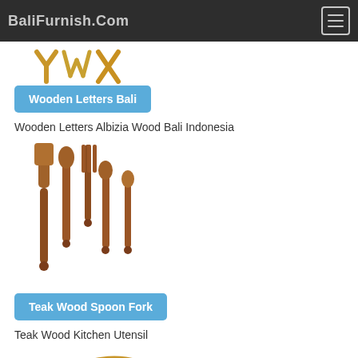BaliFurnish.Com
[Figure (photo): Wooden decorative letters made from Albizia wood, shown with gold/brown coloring in a Y, W, X pattern]
Wooden Letters Bali
Wooden Letters Albizia Wood Bali Indonesia
[Figure (photo): Set of teak wood kitchen utensils including spatula, fork, spoons arranged together]
Teak Wood Spoon Fork
Teak Wood Kitchen Utensil
[Figure (photo): Teak wood cutting boards shaped like leaves/shells, stacked together with a hole for hanging]